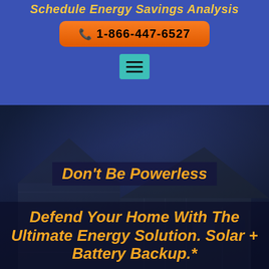Schedule Energy Savings Analysis
1-866-447-6527
[Figure (photo): Dark blue-toned nighttime photo of a residential house with two gabled rooflines, gray siding, and illuminated windows. The scene has a dramatic stormy-night atmosphere.]
Don't Be Powerless
Defend Your Home With The Ultimate Energy Solution. Solar + Battery Backup.*